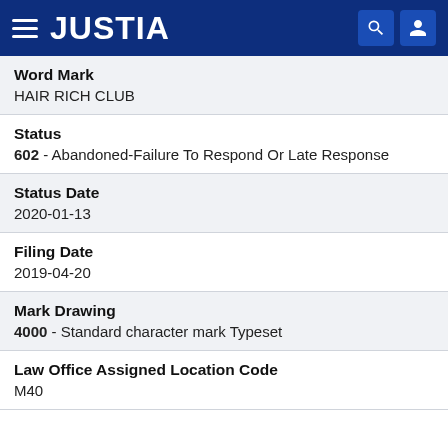JUSTIA
Word Mark
HAIR RICH CLUB
Status
602 - Abandoned-Failure To Respond Or Late Response
Status Date
2020-01-13
Filing Date
2019-04-20
Mark Drawing
4000 - Standard character mark Typeset
Law Office Assigned Location Code
M40